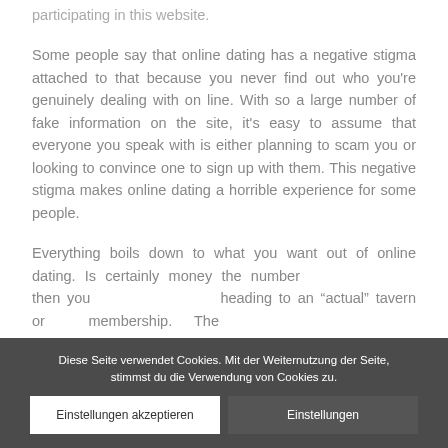participating in this website.
Some people say that online dating has a negative stigma attached to that because you never find out who you're genuinely dealing with on line. With so a large number of fake information on the site, it's easy to assume that everyone you speak with is either planning to scam you or looking to convince one to sign up with them. This negative stigma makes online dating a horrible experience for some people.
Everything boils down to what you want out of online dating. Is certainly money the number... then you... heading to an 'actual' tavern or membership. The
Diese Seite verwendet Cookies. Mit der Weiternutzung der Seite, stimmst du die Verwendung von Cookies zu.
Einstellungen akzeptieren
Einstellungen